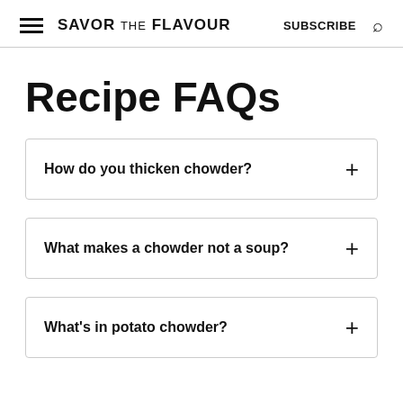SAVOR THE FLAVOUR  SUBSCRIBE
Recipe FAQs
How do you thicken chowder?
What makes a chowder not a soup?
What's in potato chowder?